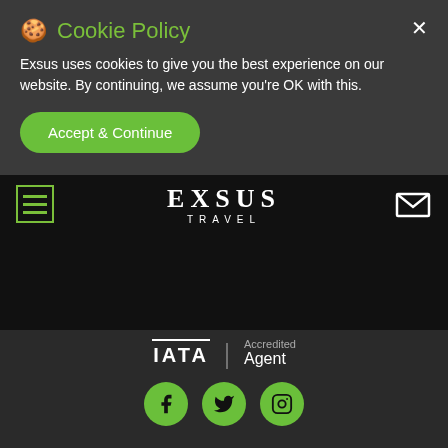🍪 Cookie Policy
Exsus uses cookies to give you the best experience on our website. By continuing, we assume you're OK with this.
Accept & Continue
[Figure (logo): EXSUS TRAVEL logo in white text on black navigation bar with hamburger menu icon and envelope icon]
[Figure (logo): IATA Accredited Agent logo with text and vertical divider]
[Figure (infographic): Three green circular social media icons: Facebook, Twitter, Instagram]
SERVICES
Home
Contact us
Online Enquiry
Travel Information